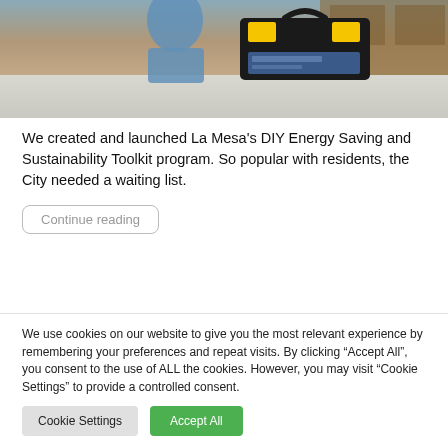[Figure (photo): A person standing behind a kitchen counter holding a black and yellow toolbox. The scene appears to be in a kitchen or workshop setting.]
We created and launched La Mesa's DIY Energy Saving and Sustainability Toolkit program. So popular with residents, the City needed a waiting list.
Continue reading
We use cookies on our website to give you the most relevant experience by remembering your preferences and repeat visits. By clicking “Accept All”, you consent to the use of ALL the cookies. However, you may visit "Cookie Settings" to provide a controlled consent.
Cookie Settings
Accept All